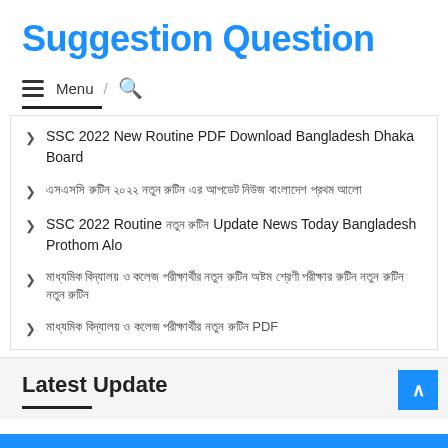Suggestion Question
Menu / 🔍
SSC 2022 New Routine PDF Download Bangladesh Dhaka Board
এসএসসি রুটিন ২০২২ নতুন রুটিন এর আপডেট নিউজ বাংলাদেশ প্রথম আলো
SSC 2022 Routine নতুন রুটিন Update News Today Bangladesh Prothom Alo
মাধ্যমিক বিদ্যালয় ও কলেজ পরীক্ষার্থীর নতুন রুটিন অষ্টম শ্রেণী পরীক্ষার রুটিন নতুন রুটিন
মাধ্যমিক বিদ্যালয় ও কলেজ পরীক্ষার্থীর নতুন রুটিন PDF
Latest Update